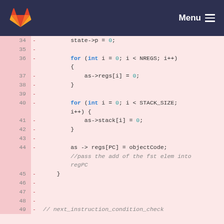GitLab · Menu
[Figure (screenshot): Code diff view showing lines 34-49 of a C source file with deleted lines (marked with -) on a pink/red background. Code shows initialization of state->p, loops over NREGS and STACK_SIZE zeroing registers and stack, setting as->regs[PC] = objectCode with a comment.]